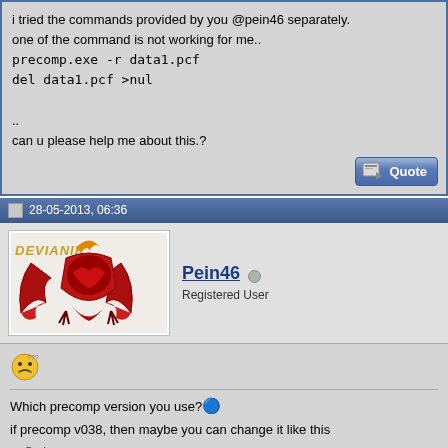i tried the commands provided by you @pein46 separately.
one of the command is not working for me..
precomp.exe -r data1.pcf
del data1.pcf >nul
..
can u please help me about this.?
[Figure (screenshot): Quote button]
28-05-2013, 06:36
[Figure (photo): Pein46 user avatar - red phoenix logo with DEVIANTR text]
Pein46
Registered User
[Figure (illustration): Confused/dizzy emoji face]
Which precomp version you use?
if precomp v038, then maybe you can change it like this
Code:
precomp038.exe -r data1.pcf